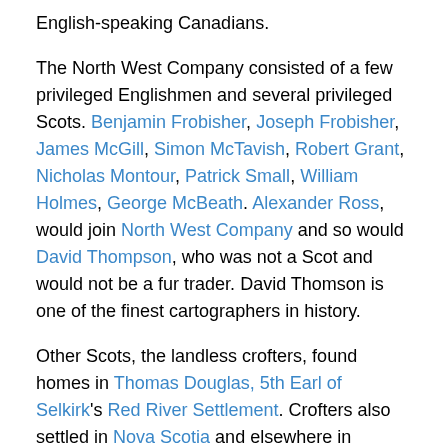English-speaking Canadians.
The North West Company consisted of a few privileged Englishmen and several privileged Scots. Benjamin Frobisher, Joseph Frobisher, James McGill, Simon McTavish, Robert Grant, Nicholas Montour, Patrick Small, William Holmes, George McBeath. Alexander Ross, would join North West Company and so would David Thompson, who was not a Scot and would not be a fur trader. David Thomson is one of the finest cartographers in history.
Other Scots, the landless crofters, found homes in Thomas Douglas, 5th Earl of Selkirk's Red River Settlement. Crofters also settled in Nova Scotia and elsewhere in Canada. The Red River Settlement is inextricably linked to the fur trade. The competition